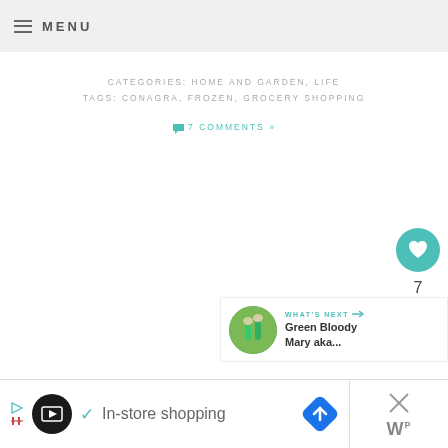MENU
CATEGORIES: HOME AND GARDEN, LIFE
TAGS: CONAGRA, FROZEN, GROCERY SHOPPING
7 COMMENTS »
[Figure (illustration): Heart like button (teal circle with white heart icon), count of 7, and share button (light gray circle with share icon)]
[Figure (illustration): What's Next panel: thumbnail of green drinks, label WHAT'S NEXT with arrow, title Green Bloody Mary aka...]
[Figure (illustration): Advertisement bar: play/close icons, black circle logo, checkmark, In-store shopping text, blue diamond navigation icon, close X, and W logo]